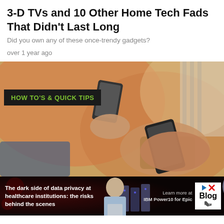3-D TVs and 10 Other Home Tech Fads That Didn't Last Long
Did you own any of these once-trendy gadgets?
over 1 year ago
[Figure (photo): Two people holding smartphones, close-up of hands, with a banner overlay reading HOW TO'S & QUICK TIPS in green on dark background]
[Figure (infographic): Advertisement banner: The dark side of data privacy at healthcare institutions: the risks behind the scenes. IBM Power10 for Epic. Learn more at IBM Power10 for Epic. Blog button with cursor icon.]